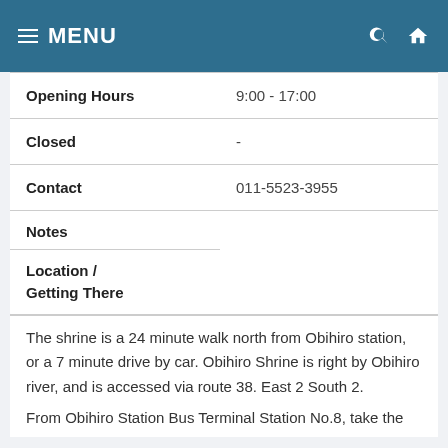MENU
| Field | Value |
| --- | --- |
| Opening Hours | 9:00 - 17:00 |
| Closed | - |
| Contact | 011-5523-3955 |
Notes
Location / Getting There
The shrine is a 24 minute walk north from Obihiro station, or a 7 minute drive by car. Obihiro Shrine is right by Obihiro river, and is accessed via route 38. East 2 South 2. From Obihiro Station Bus Terminal Station No.8, take the